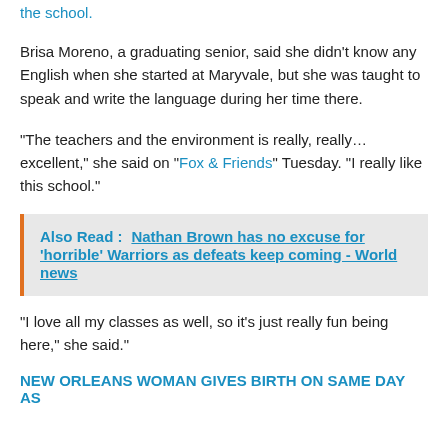the school.
Brisa Moreno, a graduating senior, said she didn't know any English when she started at Maryvale, but she was taught to speak and write the language during her time there.
“The teachers and the environment is really, really… excellent,” she said on “Fox & Friends” Tuesday. “I really like this school.”
Also Read :   Nathan Brown has no excuse for ‘horrible’ Warriors as defeats keep coming - World news
“I love all my classes as well, so it’s just really fun being here,” she said.”
NEW ORLEANS WOMAN GIVES BIRTH ON SAME DAY AS